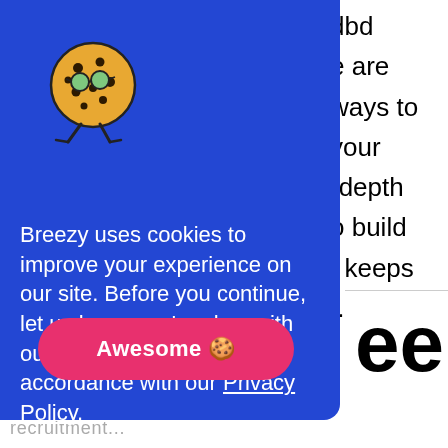[Figure (screenshot): Cookie consent modal overlay on a blue background. Features an illustrated cookie mascot character (a round cookie with glasses and legs), text explaining cookie usage, a Privacy Policy link, and a pink 'Awesome 🍪' button. Behind the modal, partial text is visible on the right side of the screen.]
Breezy uses cookies to improve your experience on our site. Before you continue, let us know you're okay with our use of cookies, in accordance with our Privacy Policy.
Awesome 🍪